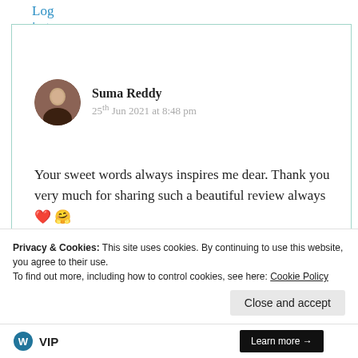Log in to Reply
Suma Reddy
25th Jun 2021 at 8:48 pm
Your sweet words always inspires me dear. Thank you very much for sharing such a beautiful review always ❤️ 🤗
Privacy & Cookies: This site uses cookies. By continuing to use this website, you agree to their use.
To find out more, including how to control cookies, see here: Cookie Policy
Close and accept
[Figure (logo): WordPress VIP logo and Learn more button]